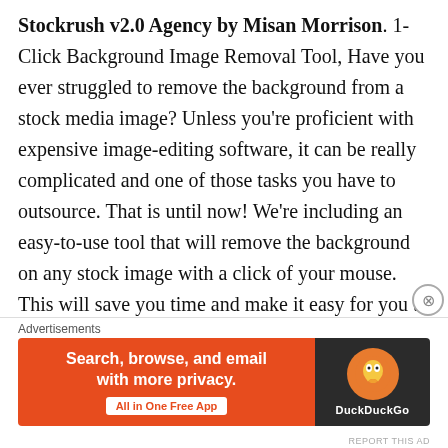Stockrush v2.0 Agency by Misan Morrison. 1-Click Background Image Removal Tool, Have you ever struggled to remove the background from a stock media image? Unless you're proficient with expensive image-editing software, it can be really complicated and one of those tasks you have to outsource. That is until now! We're including an easy-to-use tool that will remove the background on any stock image with a click of your mouse. This will save you time and make it easy for you to customize your stock media with a few clicks. Upgraded Dashboard And Interface, We've made it even easier to use StockRush by improving the dashboard and user-interface to make it look better, feel better, and perform
Advertisements
[Figure (other): DuckDuckGo advertisement banner with orange background on left side reading 'Search, browse, and email with more privacy. All in One Free App' and dark right panel with DuckDuckGo logo and brand name.]